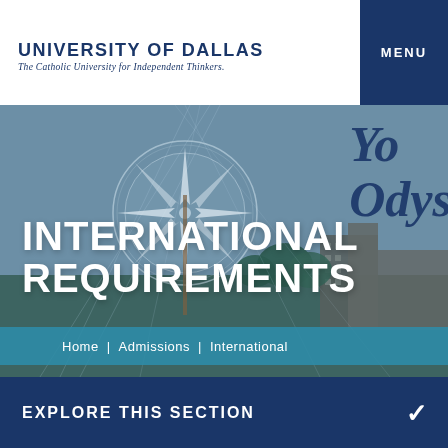UNIVERSITY OF DALLAS
The Catholic University for Independent Thinkers.
[Figure (photo): University of Dallas campus hero image with compass rose overlay and partial italic text 'Your Odyssey' on the right side. Background shows campus buildings, trees and sky with blue overlay tint.]
INTERNATIONAL REQUIREMENTS
Home | Admissions | International
EXPLORE THIS SECTION